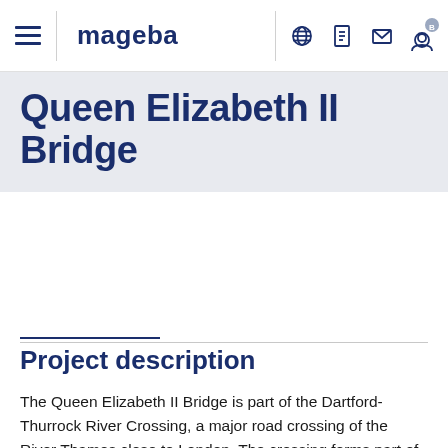mageba
Queen Elizabeth II Bridge
Project description
The Queen Elizabeth II Bridge is part of the Dartford-Thurrock River Crossing, a major road crossing of the River Thames close to London. The crossing forms part of London's M25 orbital motorway, which almost encircles the city. The bridge was built between 1988 and 1991 to carry all M25 traffic in one direction across the river, enabling both of the existing tunnels to be